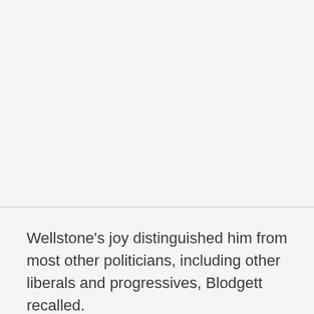Wellstone's joy distinguished him from most other politicians, including other liberals and progressives, Blodgett recalled.
"Paul was a happy warrior," he said. "He used to say